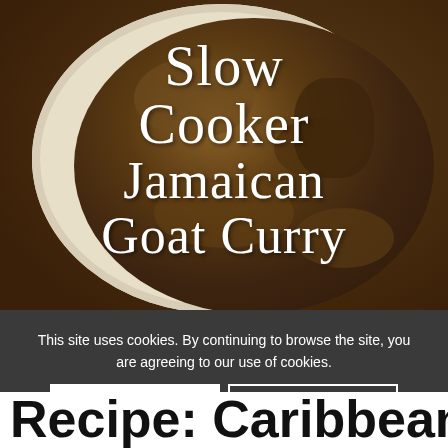[Figure (photo): Overhead photo of a slow cooker containing Jamaican goat curry — rich brown sauce with meat pieces visible, in a white ceramic slow cooker bowl. White overlaid text reads 'Slow Cooker Jamaican Goat Curry' with watermark 'paleo.com.au' in lower right.]
This site uses cookies. By continuing to browse the site, you are agreeing to our use of cookies.
OK
Learn more
Recipe: Caribbean